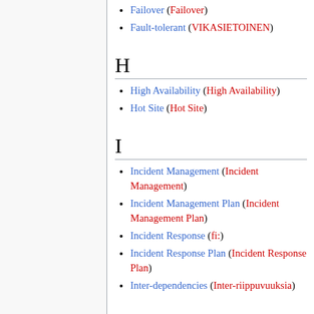Failover (Failover)
Fault-tolerant (VIKASIETOINEN)
H
High Availability (High Availability)
Hot Site (Hot Site)
I
Incident Management (Incident Management)
Incident Management Plan (Incident Management Plan)
Incident Response (fi:)
Incident Response Plan (Incident Response Plan)
Inter-dependencies (Inter-riippuvuuksia)